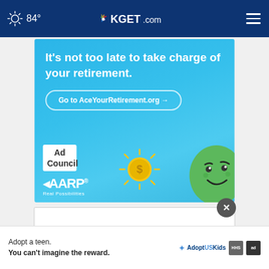84° KGET.com
[Figure (screenshot): AARP / Ad Council advertisement banner with light blue background. Text reads: It's not too late to take charge of your retirement. Go to AceYourRetirement.org →. Ad Council and AARP Real Possibilities logos with coin sun graphic and green cartoon character.]
[Figure (screenshot): Partial banner ad: Adopt a teen. You can't imagine the reward. AdoptUSKids, HHS, and ad badge logos.]